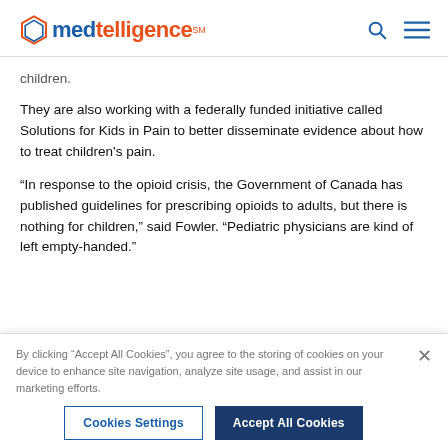medtelligence
children.
They are also working with a federally funded initiative called Solutions for Kids in Pain to better disseminate evidence about how to treat children's pain.
“In response to the opioid crisis, the Government of Canada has published guidelines for prescribing opioids to adults, but there is nothing for children,” said Fowler. “Pediatric physicians are kind of left empty-handed.”
By clicking "Accept All Cookies", you agree to the storing of cookies on your device to enhance site navigation, analyze site usage, and assist in our marketing efforts.